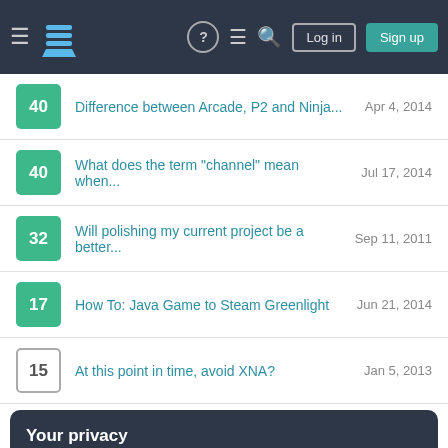Navigation bar with hamburger menu, logo, help, chat, search icons, Log in and Sign up buttons
40 — Difference between Arcade, P2 and Ninja... — Apr 4, 2014
40 — What does the term "channel" mean when... — Jul 17, 2014
32 — Will polishing my current project be a better... — Sep 11, 2011
17 — How To: Java Game to Steam Greenlight — Jun 21, 2014
15 — At this point in time, avoid XNA? — Jan 5, 2013
Your privacy
By clicking "Accept all cookies", you agree Stack Exchange can store cookies on your device and disclose information in accordance with our Cookie Policy.
35 — Strategies to Defeat Memory Editors for... — Mar 16, 2011